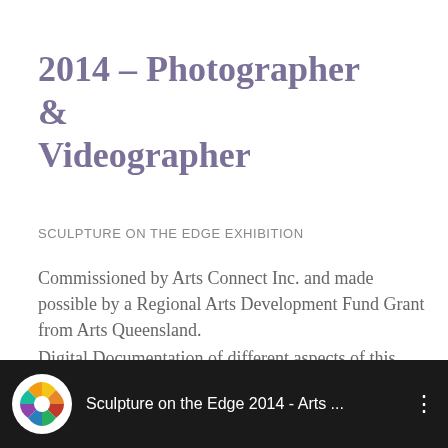2014 – Photographer & Videographer
SCULPTURE ON THE EDGE EXHIBITION
Commissioned by Arts Connect Inc. and made possible by a Regional Arts Development Fund Grant from Arts Queensland.
Digital Documentation of different aspects of this national competition held in Maleny, Queensland.
[Figure (screenshot): YouTube video thumbnail bar showing Arts Connect Inc. logo and title 'Sculpture on the Edge 2014 - Arts ...' with three-dot menu icon on dark background]